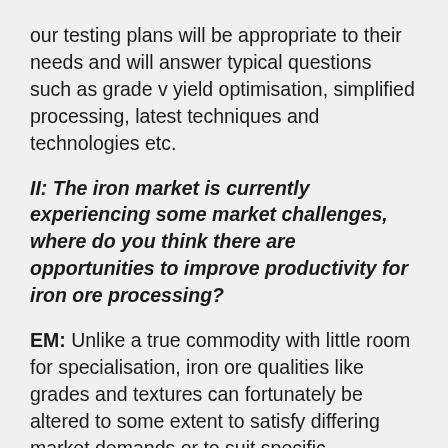our testing plans will be appropriate to their needs and will answer typical questions such as grade v yield optimisation, simplified processing, latest techniques and technologies etc.
II: The iron market is currently experiencing some market challenges, where do you think there are opportunities to improve productivity for iron ore processing?
EM: Unlike a true commodity with little room for specialisation, iron ore qualities like grades and textures can fortunately be altered to some extent to satisfy differing market demands or to suit specific